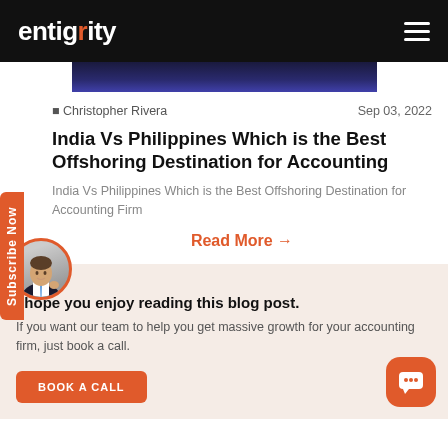entigrity
[Figure (screenshot): Dark blue gradient image strip partial view]
Christopher Rivera   Sep 03, 2022
India Vs Philippines Which is the Best Offshoring Destination for Accounting
India Vs Philippines Which is the Best Offshoring Destination for Accounting Firm
Read More →
I hope you enjoy reading this blog post.
If you want our team to help you get massive growth for your accounting firm, just book a call.
BOOK A CALL